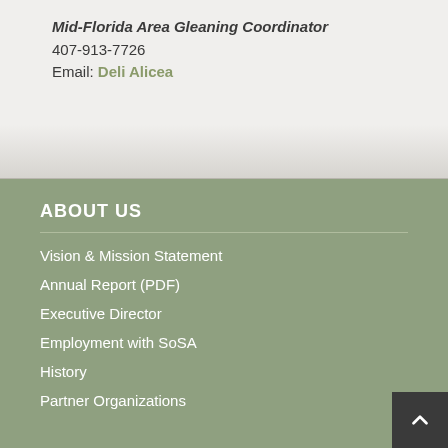Mid-Florida Area Gleaning Coordinator
407-913-7726
Email: Deli Alicea
ABOUT US
Vision & Mission Statement
Annual Report (PDF)
Executive Director
Employment with SoSA
History
Partner Organizations